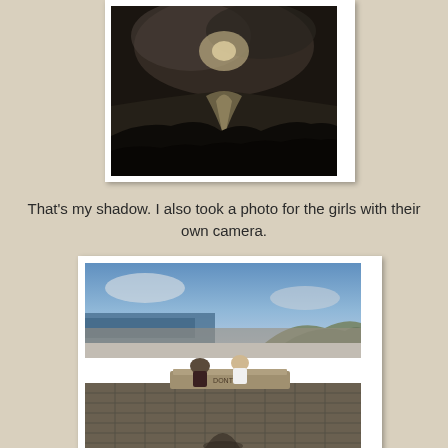[Figure (photo): Aerial/elevated dark moody photo of coastline with moonlight or sunlight reflecting off the ocean, with dark mountain silhouettes in the foreground]
That's my shadow. I also took a photo for the girls with their own camera.
[Figure (photo): Two girls sitting on a grated platform/overlook at a high viewpoint overlooking a city and ocean coastline, with a shadow of the photographer visible on the ground]